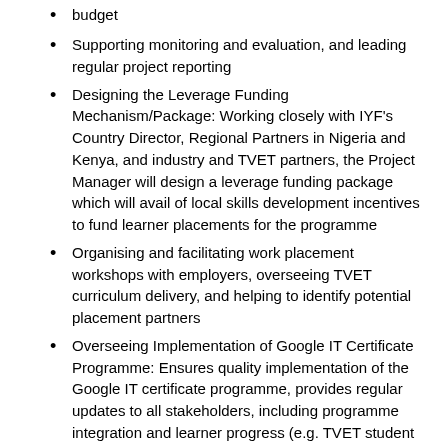budget
Supporting monitoring and evaluation, and leading regular project reporting
Designing the Leverage Funding Mechanism/Package: Working closely with IYF's Country Director, Regional Partners in Nigeria and Kenya, and industry and TVET partners, the Project Manager will design a leverage funding package which will avail of local skills development incentives to fund learner placements for the programme
Organising and facilitating work placement workshops with employers, overseeing TVET curriculum delivery, and helping to identify potential placement partners
Overseeing Implementation of Google IT Certificate Programme: Ensures quality implementation of the Google IT certificate programme, provides regular updates to all stakeholders, including programme integration and learner progress (e.g. TVET student work placement)
Managing contractors and vendors, such as private sector partners and lead programme implementors